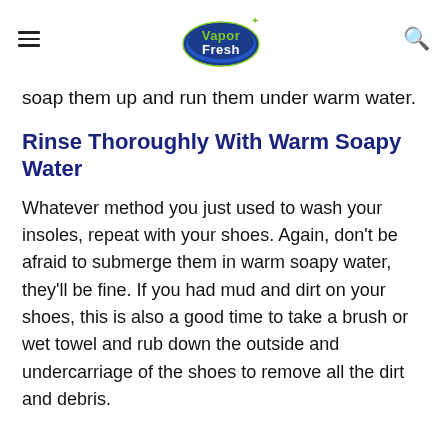Vapor Fresh [logo]
soap them up and run them under warm water.
Rinse Thoroughly With Warm Soapy Water
Whatever method you just used to wash your insoles, repeat with your shoes. Again, don't be afraid to submerge them in warm soapy water, they'll be fine. If you had mud and dirt on your shoes, this is also a good time to take a brush or wet towel and rub down the outside and undercarriage of the shoes to remove all the dirt and debris.